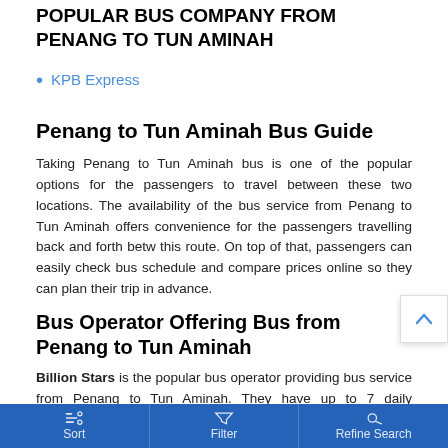POPULAR BUS COMPANY FROM PENANG TO TUN AMINAH
KPB Express
Penang to Tun Aminah Bus Guide
Taking Penang to Tun Aminah bus is one of the popular options for the passengers to travel between these two locations. The availability of the bus service from Penang to Tun Aminah offers convenience for the passengers travelling back and forth between this route. On top of that, passengers can easily check bus schedule and compare prices online so they can plan their trip in advance.
Bus Operator Offering Bus from Penang to Tun Aminah
Billion Stars is the popular bus operator providing bus service from Penang to Tun Aminah. They have up to 7 daily departures from Penang to Tun Aminah. The earliest bus by Billion Stars
Sort   Filter   Refine Search